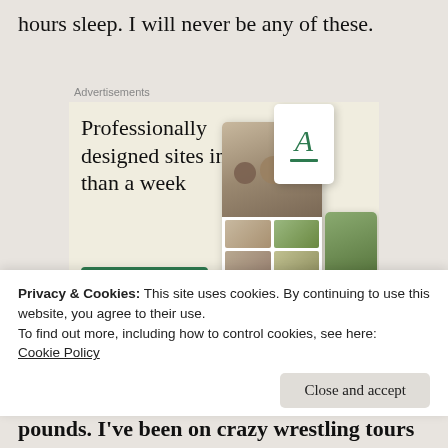hours sleep. I will never be any of these.
Advertisements
[Figure (screenshot): WordPress.com advertisement showing 'Professionally designed sites in less than a week' with an 'Explore options' green button and website mockup screenshots on the right side, with WordPress logo at bottom left.]
Privacy & Cookies: This site uses cookies. By continuing to use this website, you agree to their use.
To find out more, including how to control cookies, see here:
Cookie Policy
Close and accept
pounds. I've been on crazy wrestling tours